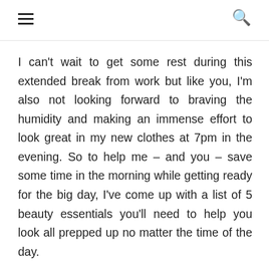☰ 🔍
I can't wait to get some rest during this extended break from work but like you, I'm also not looking forward to braving the humidity and making an immense effort to look great in my new clothes at 7pm in the evening. So to help me – and you – save some time in the morning while getting ready for the big day, I've come up with a list of 5 beauty essentials you'll need to help you look all prepped up no matter the time of the day.